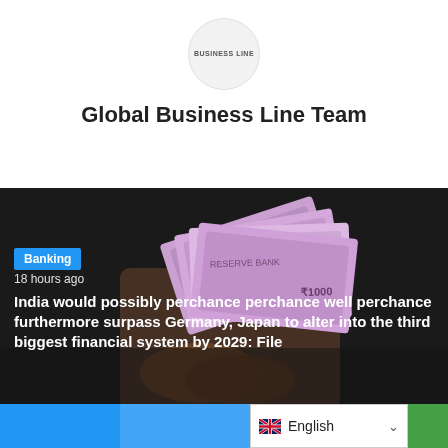[Figure (logo): Circular logo with text 'BUSINESS LINE' inside a light grey circle]
Global Business Line Team
[Figure (photo): A hand holding a fan of Indian Rupee banknotes (₹1000 notes) against a dark background]
Banking
18 hours ago
India would possibly perchance perchance well perchance furthermore surpass Germany, Japan to alter into the third biggest financial system by 2029: File
English